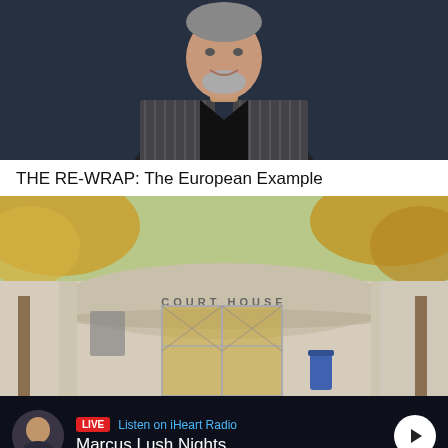[Figure (photo): Portrait photo of a smiling middle-aged man with a beard wearing a plaid/checked blazer jacket against a dark background]
THE RE-WRAP: The European Example
[Figure (photo): Photo of a Court House building entrance with a curved canopy bearing the text COURT HOUSE, autumn trees visible, blue bin in foreground]
LIVE  Listen on iHeart Radio
Marcus Lush Nights
Home  Shows  Podcasts  News  Menu